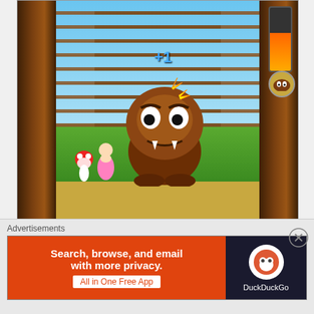[Figure (screenshot): Mario Party game screenshot showing a wooden jungle gym arena with a large Goomba enemy in the center being hit (stars/spark effect on head), Mario climbing a ladder in the background, Toad and Princess Peach visible, a +1 score indicator, and an HP bar in the top right corner]
Meh.
During Amiibo mode you play like the older versions of Mario Party, thank the lucky Mario stars!  But wait. Don’t get too excited because each board goes in a boring square and is again almost entirely linear.  No alternate path, and no
Advertisements
[Figure (screenshot): DuckDuckGo advertisement banner: left side orange background with bold white text 'Search, browse, and email with more privacy.' and white button 'All in One Free App', right side dark background with DuckDuckGo duck logo and 'DuckDuckGo' text]